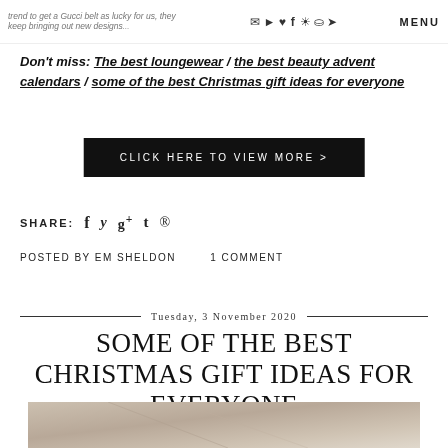trend to get a Gucci belt as lucky for us, they keep bringing out new designs and it... | MENU
Don't miss: The best loungewear / the best beauty advent calendars / some of the best Christmas gift ideas for everyone
CLICK HERE TO VIEW MORE >
SHARE: f  y  g+  t  ⊕
POSTED BY EM SHELDON     1 COMMENT
Tuesday, 3 November 2020
SOME OF THE BEST CHRISTMAS GIFT IDEAS FOR EVERYONE
[Figure (photo): Bottom portion of a photo showing what appears to be a light-colored surface or object, cropped at the bottom of the page]